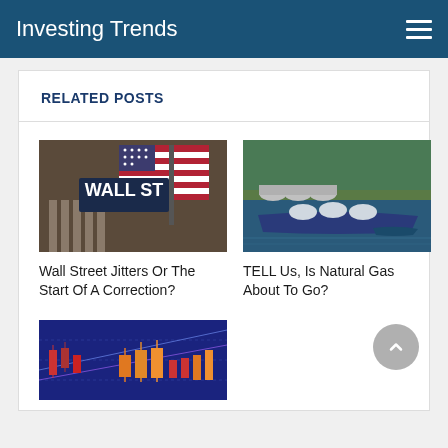Investing Trends
RELATED POSTS
[Figure (photo): Wall Street sign with American flag in background]
Wall Street Jitters Or The Start Of A Correction?
[Figure (photo): Aerial view of LNG tanker ship and industrial port facility]
TELL Us, Is Natural Gas About To Go?
[Figure (photo): Stock market candlestick chart with blue and orange bars on dark background]